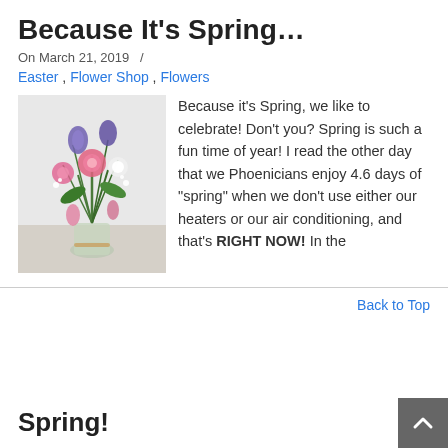Because It’s Spring…
On March 21, 2019  /
Easter , Flower Shop , Flowers
[Figure (photo): A colorful spring floral arrangement in a glass vase featuring pink roses, purple irises, white blooms, and greenery.]
Because it’s Spring, we like to celebrate! Don’t you? Spring is such a fun time of year! I read the other day that we Phoenicians enjoy 4.6 days of “spring” when we don’t use either our heaters or our air conditioning, and that’s RIGHT NOW! In the
Back to Top
Spring!